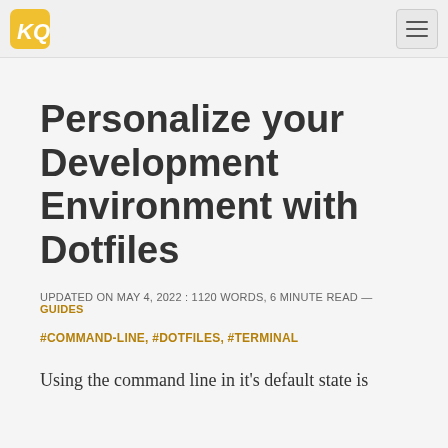KQ logo and hamburger menu navigation
Personalize your Development Environment with Dotfiles
UPDATED ON MAY 4, 2022 : 1120 words, 6 minute read — GUIDES
#COMMAND-LINE, #DOTFILES, #TERMINAL
Using the command line in it's default state is